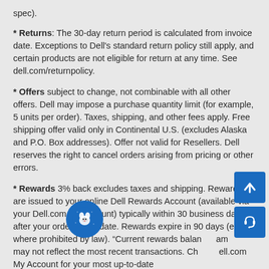spec).
* Returns: The 30-day return period is calculated from invoice date. Exceptions to Dell's standard return policy still apply, and certain products are not eligible for return at any time. See dell.com/returnpolicy.
* Offers subject to change, not combinable with all other offers. Dell may impose a purchase quantity limit (for example, 5 units per order). Taxes, shipping, and other fees apply. Free shipping offer valid only in Continental U.S. (excludes Alaska and P.O. Box addresses). Offer not valid for Resellers. Dell reserves the right to cancel orders arising from pricing or other errors.
* Rewards 3% back excludes taxes and shipping. Rewards are issued to your online Dell Rewards Account (available via your Dell.com My Account) typically within 30 business da... after your order's ship date. Rewards expire in 90 days (except where prohibited by law). "Current rewards balance" am... may not reflect the most recent transactions. Ch...ell.com My Account for your most up-to-date